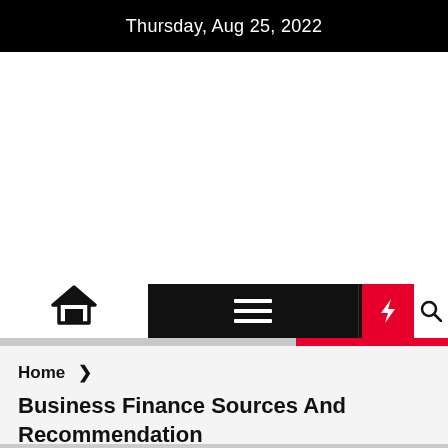Thursday, Aug 25, 2022
[Figure (screenshot): Website navigation bar with home icon, hamburger menu, dark mode toggle (moon icon), red lightning/breaking news button, and search icon. Below is a red accent line.]
Home >
Business Finance Sources And Recommendation